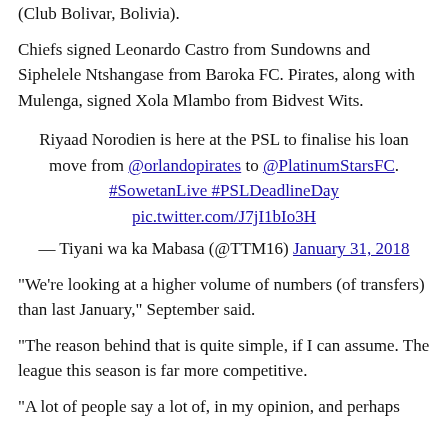(Club Bolivar, Bolivia).
Chiefs signed Leonardo Castro from Sundowns and Siphelele Ntshangase from Baroka FC. Pirates, along with Mulenga, signed Xola Mlambo from Bidvest Wits.
Riyaad Norodien is here at the PSL to finalise his loan move from @orlandopirates to @PlatinumStarsFC. #SowetanLive #PSLDeadlineDay pic.twitter.com/J7jI1bIo3H
— Tiyani wa ka Mabasa (@TTM16) January 31, 2018
"We're looking at a higher volume of numbers (of transfers) than last January," September said.
"The reason behind that is quite simple, if I can assume. The league this season is far more competitive.
"A lot of people say a lot of, in my opinion, and perhaps